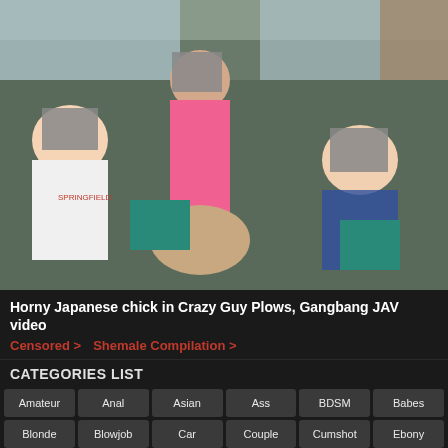[Figure (photo): Video thumbnail showing people on a bus]
Horny Japanese chick in Crazy Guy Plows, Gangbang JAV video
Censored > Shemale Compilation >
CATEGORIES LIST
Amateur
Anal
Asian
Ass
BDSM
Babes
Blonde
Blowjob
Car
Couple
Cumshot
Ebony
European
Ex-Girlfriend
Facial
Femdom
Fetish
Foot
GangBang
Hairy
Handjob
Hardcore